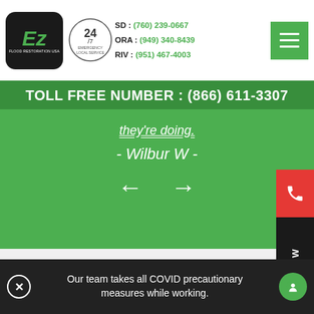[Figure (logo): EZ Flood Restoration USA logo — dark rounded square with green Ez italic text]
[Figure (logo): 24/7 Emergency Local Service badge with circular clock graphic]
SD : (760) 239-0667
ORA : (949) 340-8439
RIV : (951) 467-4003
[Figure (logo): Green hamburger menu button (three horizontal white lines on green square)]
TOLL FREE NUMBER : (866) 611-3307
they're doing.
- Wilbur W -
WE BILL INSURANCE DIRECTLY
[Figure (logo): AAA insurance logo — red triple-A with blue oval swoosh]
[Figure (logo): Allied Insurance logo — blue square border icon with Allied Insurance text]
Our team takes all COVID precautionary measures while working.